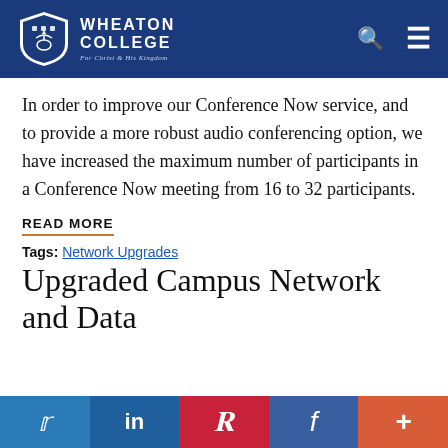Wheaton College — For Christ and His Kingdom
In order to improve our Conference Now service, and to provide a more robust audio conferencing option, we have increased the maximum number of participants in a Conference Now meeting from 16 to 32 participants.
READ MORE
Tags: Network Upgrades
Upgraded Campus Network and Data
Social share buttons: Twitter, LinkedIn, Pinterest, Facebook, More